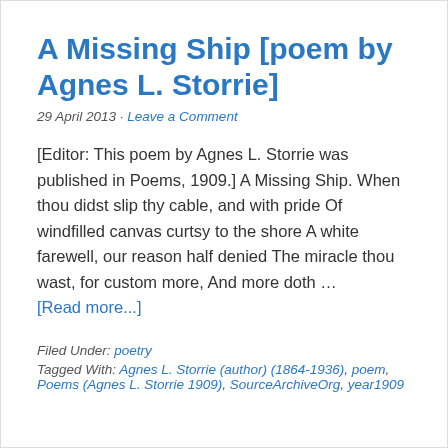A Missing Ship [poem by Agnes L. Storrie]
29 April 2013 · Leave a Comment
[Editor: This poem by Agnes L. Storrie was published in Poems, 1909.] A Missing Ship. When thou didst slip thy cable, and with pride Of windfilled canvas curtsy to the shore A white farewell, our reason half denied The miracle thou wast, for custom more, And more doth …
[Read more...]
Filed Under: poetry
Tagged With: Agnes L. Storrie (author) (1864-1936), poem, Poems (Agnes L. Storrie 1909), SourceArchiveOrg, year1909